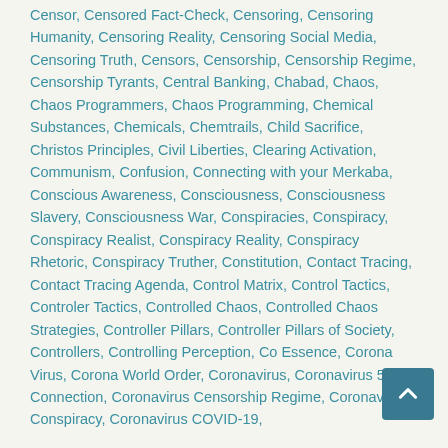Censor, Censored Fact-Check, Censoring, Censoring Humanity, Censoring Reality, Censoring Social Media, Censoring Truth, Censors, Censorship, Censorship Regime, Censorship Tyrants, Central Banking, Chabad, Chaos, Chaos Programmers, Chaos Programming, Chemical Substances, Chemicals, Chemtrails, Child Sacrifice, Christos Principles, Civil Liberties, Clearing Activation, Communism, Confusion, Connecting with your Merkaba, Conscious Awareness, Consciousness, Consciousness Slavery, Consciousness War, Conspiracies, Conspiracy, Conspiracy Realist, Conspiracy Reality, Conspiracy Rhetoric, Conspiracy Truther, Constitution, Contact Tracing, Contact Tracing Agenda, Control Matrix, Control Tactics, Controler Tactics, Controlled Chaos, Controlled Chaos Strategies, Controller Pillars, Controller Pillars of Society, Controllers, Controlling Perception, Co Essence, Corona Virus, Corona World Order, Coronavirus, Coronavirus 5G Connection, Coronavirus Censorship Regime, Coronavirus Conspiracy, Coronavirus COVID-19,